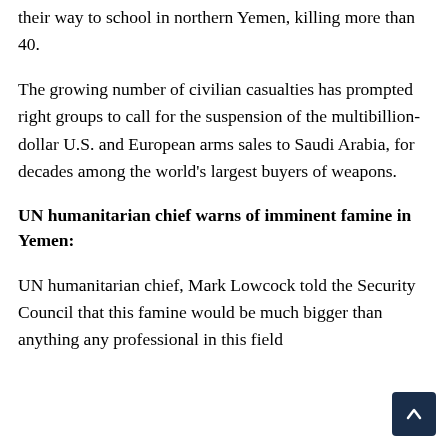their way to school in northern Yemen, killing more than 40.
The growing number of civilian casualties has prompted right groups to call for the suspension of the multibillion-dollar U.S. and European arms sales to Saudi Arabia, for decades among the world's largest buyers of weapons.
UN humanitarian chief warns of imminent famine in Yemen:
UN humanitarian chief, Mark Lowcock told the Security Council that this famine would be much bigger than anything any professional in this field